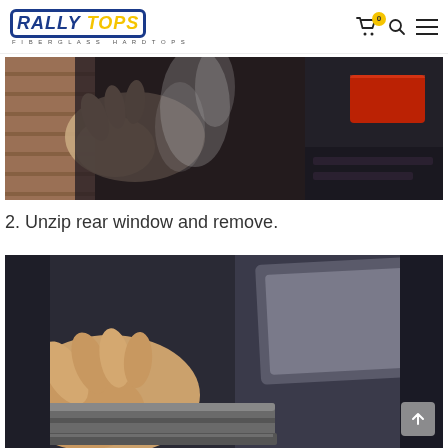Rally Tops – Fiberglass Hardtops
[Figure (photo): Hands near a car door/window area with steam or smoke visible, red tail light visible on the right side of the vehicle]
2. Unzip rear window and remove.
[Figure (photo): Close-up of a hand holding a fiberglass or rubber rail/trim component of a hardtop, car interior visible in background]